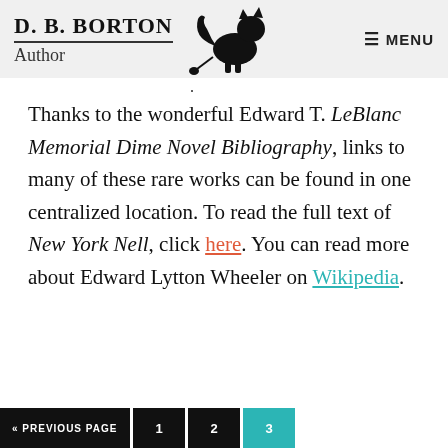D. B. BORTON Author — MENU
Thanks to the wonderful Edward T. LeBlanc Memorial Dime Novel Bibliography, links to many of these rare works can be found in one centralized location. To read the full text of New York Nell, click here. You can read more about Edward Lytton Wheeler on Wikipedia.
« PREVIOUS PAGE  1  2  3